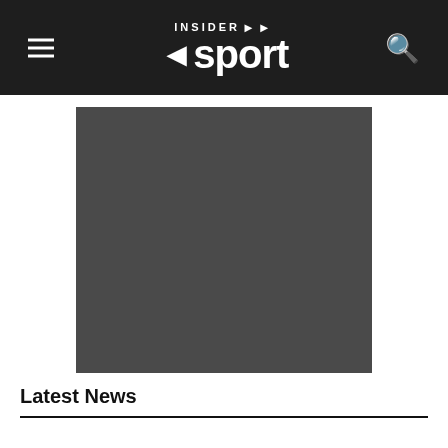INSIDER sport
[Figure (photo): Large dark grey/charcoal image placeholder, main article image]
Latest News